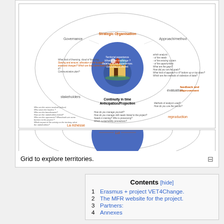[Figure (infographic): Circular mind-map diagram showing a grid to explore territories, with sections for Governance, stakeholders, Strategic Organisation, Approach/method, evaluation, feedback and improvement, reproduction, La richesse, and Continuity in time / Anticipation/Projection at center. Various guiding questions are listed around the circle.]
Grid to explore territories.
Contents [hide]
1  Erasmus + project VET4Change.
2  The MFR website for the project.
3  Partners:
4  Annexes